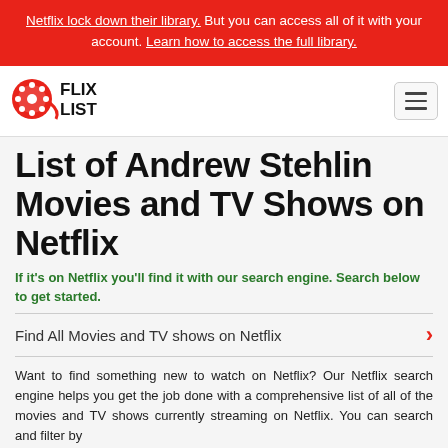Netflix lock down their library. But you can access all of it with your account. Learn how to access the full library.
[Figure (logo): FlixList logo with film reel icon and FLIXLIST text in bold]
List of Andrew Stehlin Movies and TV Shows on Netflix
If it's on Netflix you'll find it with our search engine. Search below to get started.
Find All Movies and TV shows on Netflix
Want to find something new to watch on Netflix? Our Netflix search engine helps you get the job done with a comprehensive list of all of the movies and TV shows currently streaming on Netflix. You can search and filter by